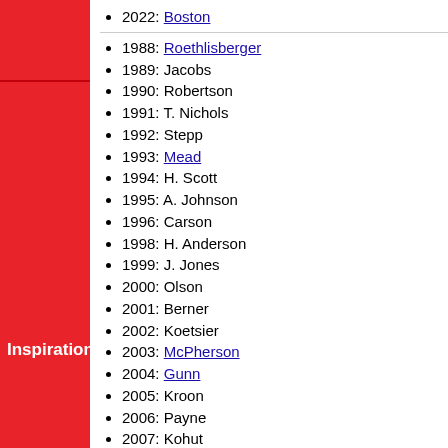2022: Boston
1988: Roethlisberger
1989: Jacobs
1990: Robertson
1991: T. Nichols
1992: Stepp
1993: Mead
1994: H. Scott
1995: A. Johnson
1996: Carson
1998: H. Anderson
1999: J. Jones
2000: Olson
2001: Berner
2002: Koetsier
2003: McPherson
2004: Gunn
2005: Kroon
2006: Payne
2007: Kohut
2008: Knight
2009: Hester
2010: Cobb
2011: Breland
Inspiration